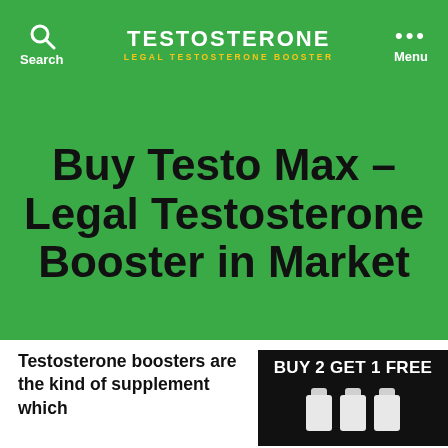TESTOSTERONE LEGAL TESTOSTERONE BOOSTER Search Menu
Buy Testo Max – Legal Testosterone Booster in Market
Testosterone boosters are the kind of supplement which
[Figure (infographic): Black banner advertisement showing 'BUY 2 GET 1 FREE' text in white with supplement bottles below]